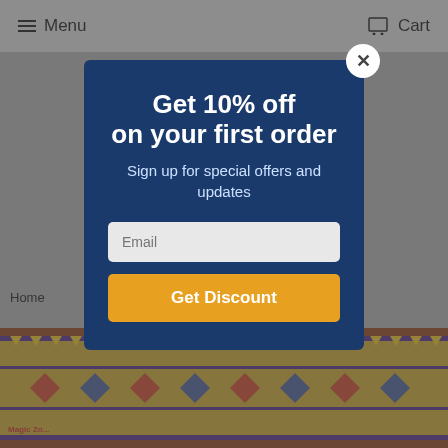Menu   Cart
Get 10% off on your first order
Sign up for special offers and updates
Email
Get Discount
Home
[Figure (photo): Colorful patterned rug with geometric designs]